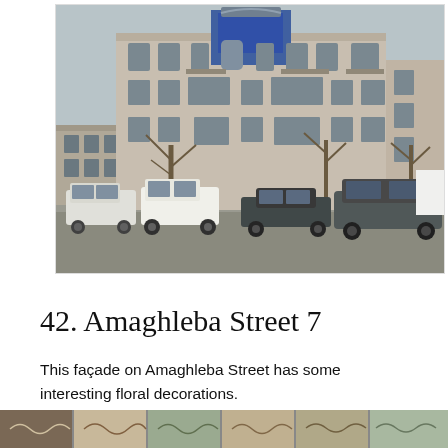[Figure (photo): Street-level photograph of a multi-story early 20th century building on Amaghleba Street 7 in Tbilisi, Georgia. The facade shows ornate architectural details including a blue Art Nouveau style upper section, arched windows, balconies, and weathered stone walls. Several vehicles including white vans and a dark SUV are parked in front.]
42. Amaghleba Street 7
This façade on Amaghleba Street has some interesting floral decorations.
[Figure (photo): Bottom strip showing partial view of detail photos of the building facade decorations.]